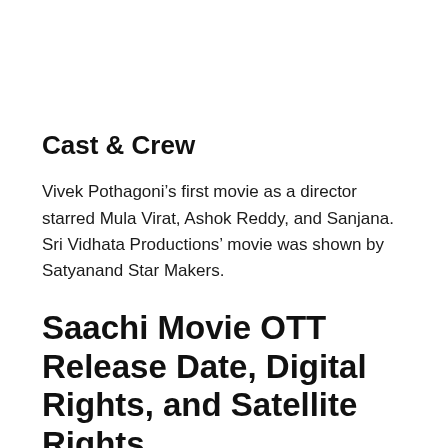Cast & Crew
Vivek Pothagoni’s first movie as a director starred Mula Virat, Ashok Reddy, and Sanjana. Sri Vidhata Productions’ movie was shown by Satyanand Star Makers.
Saachi Movie OTT Release Date, Digital Rights, and Satellite Rights
In the next few days, Vivek Pothagoni’s new